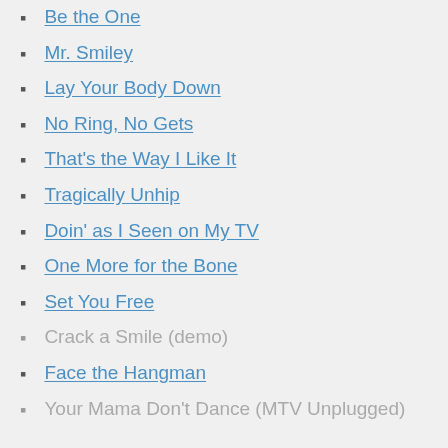Be the One
Mr. Smiley
Lay Your Body Down
No Ring, No Gets
That's the Way I Like It
Tragically Unhip
Doin' as I Seen on My TV
One More for the Bone
Set You Free
Crack a Smile (demo)
Face the Hangman
Your Mama Don't Dance (MTV Unplugged)